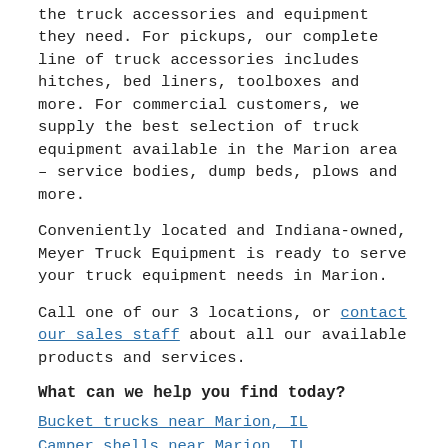the truck accessories and equipment they need. For pickups, our complete line of truck accessories includes hitches, bed liners, toolboxes and more. For commercial customers, we supply the best selection of truck equipment available in the Marion area – service bodies, dump beds, plows and more.
Conveniently located and Indiana-owned, Meyer Truck Equipment is ready to serve your truck equipment needs in Marion.
Call one of our 3 locations, or contact our sales staff about all our available products and services.
What can we help you find today?
Bucket trucks near Marion, IL
Camper shells near Marion, IL
Dump bodies near Marion, IL
Flat bed trucks near Marion, IL